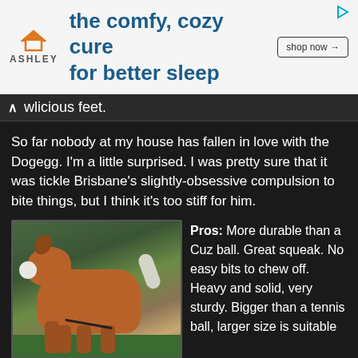[Figure (other): Ashley Furniture advertisement banner: Ashley logo with house icon, tagline 'the comfy, cozy cure for better sleep', and 'shop now' button]
wlicious feet.
So far nobody at my house has fallen in love with the Dogegg. I'm a little surprised. I was pretty sure that it was tickle Brisbane's slightly-obsessive compulsion to bite things, but I think it's too stiff for him.
[Figure (photo): A brown and white dog carrying a white egg-shaped toy (Dogegg) in its mouth while on a leash on a grassy lawn with trees in the background.]
Photo by Erin Koski
Pros: More durable than a Cuz ball. Great squeak. No easy bits to chew off. Heavy and solid, very sturdy. Bigger than a tennis ball, larger size is suitable